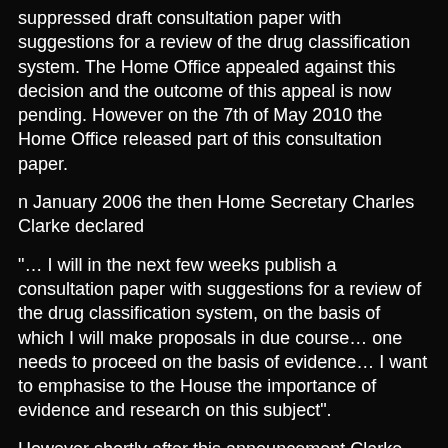suppressed draft consultation paper with suggestions for a review of the drug classification system. The Home Office appealed against this decision and the outcome of this appeal is now pending. However on the 7th of May 2010 the Home Office released part of this consultation paper.
n January 2006 the then Home Secretary Charles Clarke declared
"… I will in the next few weeks publish a consultation paper with suggestions for a review of the drug classification system, on the basis of which I will make proposals in due course… one needs to proceed on the basis of evidence… I want to emphasise to the House the importance of evidence and research on this subject".
However shortly after this announcement Clarke was replaced by John Reid and the promised consultation paper was suppressed. In October 2006 Reid announced that the Government would not be proceeding with the review.
Casey Hardison has been working to get the paper which was penned by officials as well as civil servants disclosed on the grounds of public interest for 3 years, but the Home Office have persistently tried to keep it out of the public